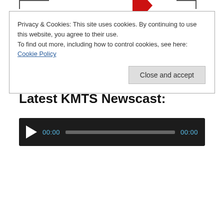Privacy & Cookies: This site uses cookies. By continuing to use this website, you agree to their use.
To find out more, including how to control cookies, see here:
Cookie Policy
Close and accept
Latest KMTS Newscast:
[Figure (other): Audio player widget with dark background, play button, timestamp 00:00, progress bar, and end time 00:00]